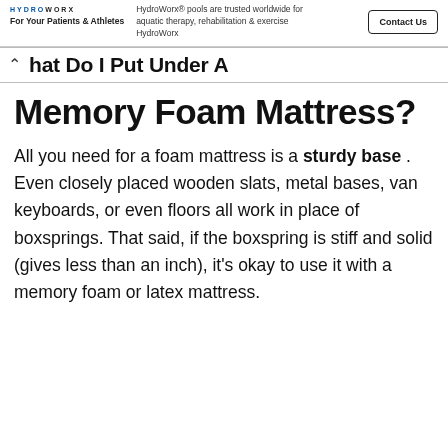For Your Patients & Athletes
HydroWorx® pools are trusted worldwide for aquatic therapy, rehabilitation & exercise HydroWorx
hat Do I Put Under A Memory Foam Mattress?
All you need for a foam mattress is a sturdy base . Even closely placed wooden slats, metal bases, van keyboards, or even floors all work in place of boxsprings. That said, if the boxspring is stiff and solid (gives less than an inch), it's okay to use it with a memory foam or latex mattress.